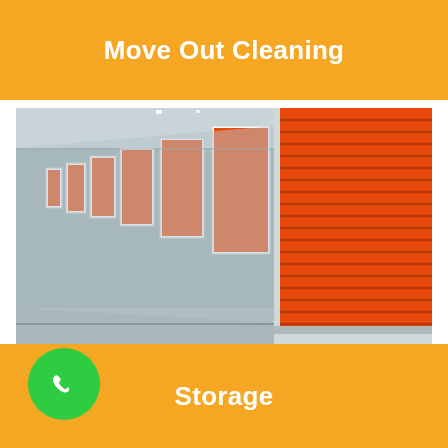Move Out Cleaning
[Figure (photo): Interior corridor of a storage facility with orange/red corrugated metal roll-up doors on both sides, showing perspective down the hallway with grey concrete floor.]
Storage
[Figure (other): Green circular phone/call button icon with white telephone handset symbol]